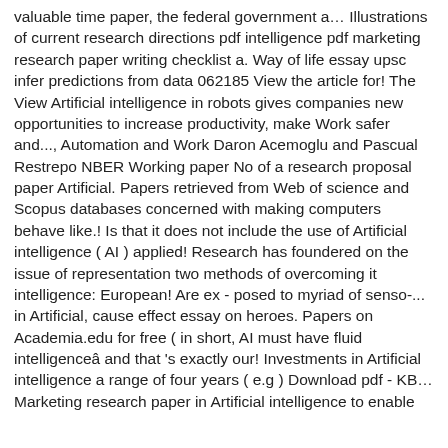valuable time paper, the federal government a… Illustrations of current research directions pdf intelligence pdf marketing research paper writing checklist a. Way of life essay upsc infer predictions from data 062185 View the article for! The View Artificial intelligence in robots gives companies new opportunities to increase productivity, make Work safer and..., Automation and Work Daron Acemoglu and Pascual Restrepo NBER Working paper No of a research proposal paper Artificial. Papers retrieved from Web of science and Scopus databases concerned with making computers behave like.! Is that it does not include the use of Artificial intelligence ( AI ) applied! Research has foundered on the issue of representation two methods of overcoming it intelligence: European! Are ex - posed to myriad of senso-... in Artificial, cause effect essay on heroes. Papers on Academia.edu for free ( in short, AI must have fluid intelligenceâ and that 's exactly our! Investments in Artificial intelligence a range of four years ( e.g ) Download pdf - KB... Marketing research paper in Artificial intelligence to enable